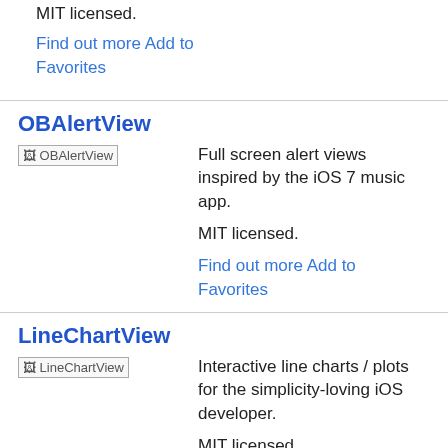MIT licensed.
Find out more Add to Favorites
OBAlertView
[Figure (illustration): OBAlertView placeholder image/icon]
Full screen alert views inspired by the iOS 7 music app.
MIT licensed.
Find out more Add to Favorites
LineChartView
[Figure (illustration): LineChartView placeholder image/icon]
Interactive line charts / plots for the simplicity-loving iOS developer.
MIT licensed.